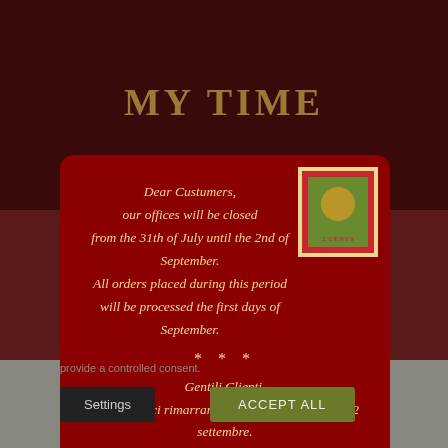MY TIME
Dear Custumers,
our offices will be closed
from the 31th of July until the 2nd of September.
All orders placed during this period
will be processed the first days of September.
* * *
Gentili Clienti,
i nostri uffici rimarranno chiusi dal 31 luglio al 2 settembre.
Tutti gli ordini effettuati dopo il 30 luglio
saranno evasi e spediti i primi giorni di settembre.
provide a controlled consent.
Settings
ACCEPT ALL